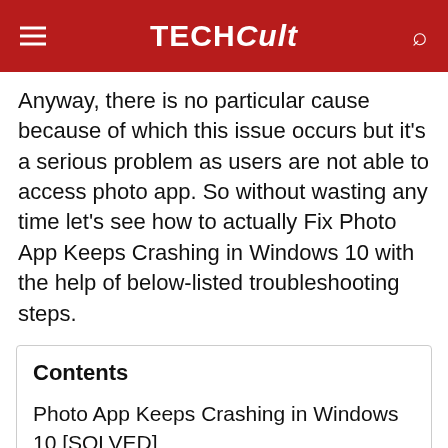TECHCult
Anyway, there is no particular cause because of which this issue occurs but it's a serious problem as users are not able to access photo app. So without wasting any time let's see how to actually Fix Photo App Keeps Crashing in Windows 10 with the help of below-listed troubleshooting steps.
Contents
Photo App Keeps Crashing in Windows 10 [SOLVED]
Method 1: Run Windows Store Apps Troubleshooter